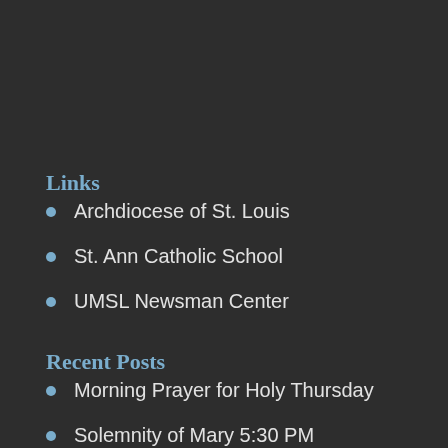Links
Archdiocese of St. Louis
St. Ann Catholic School
UMSL Newsman Center
Recent Posts
Morning Prayer for Holy Thursday
Solemnity of Mary 5:30 PM
Christmas December 25, 2020 · 10am